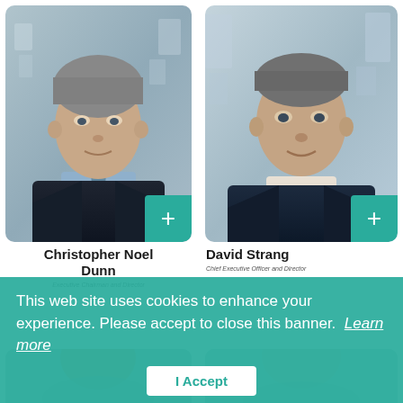[Figure (photo): Headshot of Christopher Noel Dunn, Executive Chairman and Director, in business attire with city background]
[Figure (photo): Headshot of David Strang, Chief Executive Officer and Director, in business attire with city background]
Christopher Noel Dunn
Executive Chairman and Director
David Strang
Chief Executive Officer and Director
This web site uses cookies to enhance your experience. Please accept to close this banner.  Learn more
[Figure (photo): Partial headshot of a man, partially obscured by cookie banner]
[Figure (photo): Partial headshot of a woman, partially obscured by cookie banner]